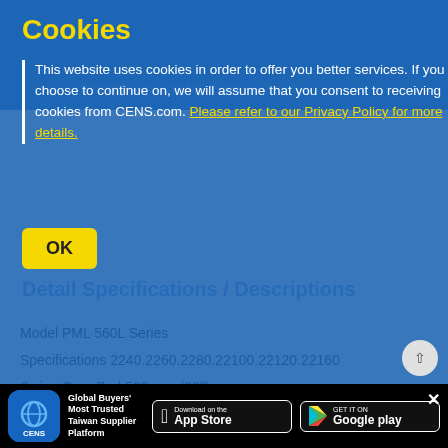Cookies
This website uses cookies in order to offer you better services. If you choose to continue on, we will assume that you consent to receiving cookies from CENS.com. Please refer to our Privacy Policy for more details.
Detail Specifications / Descriptions
Model PML 560L Series
Specifications 2240.2260.2280.22100.22120.22160
Swing Over Bed 560 mm (22")
Swing Over Cross Slide 340 mm (13-1/3")
Center Hight 280 mm (11")
Distance Between Centers (mm) 1000.1500.2000.2500.3300.4360
Bed Width 400 mm (15-3/4")
[Figure (screenshot): App store download badges for CENS app on App Store and Google Play, with CENS app icon and tagline 'Global Buyers' Most Trusted Taiwan Supplier Platform']